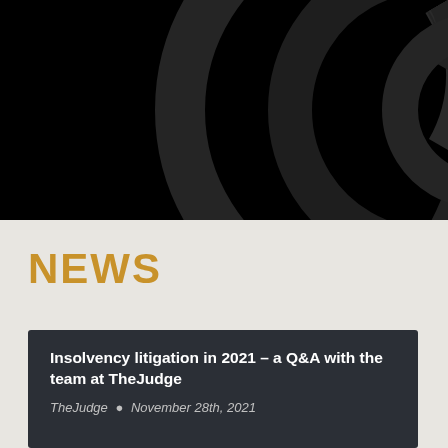[Figure (illustration): Black background header with dark concentric arc/spiral logo design in charcoal gray, partially visible in top-right area]
NEWS
Insolvency litigation in 2021 – a Q&A with the team at TheJudge
TheJudge • November 28th, 2021